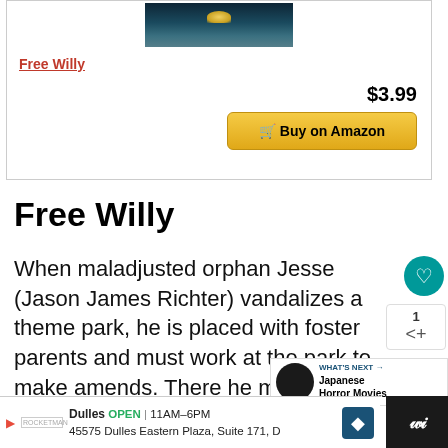[Figure (screenshot): Movie product card with image of ocean/sunset scene for Free Willy]
Free Willy
$3.99
Buy on Amazon
Free Willy
When maladjusted orphan Jesse (Jason James Richter) vandalizes a theme park, he is placed with foster parents and must work at the park to make amends. There he meets Willy, a Orca whale who has been separated from his family.
WHAT'S NEXT → Japanese Horror Movies
Dulles OPEN | 11AM–6PM
45575 Dulles Eastern Plaza, Suite 171, D